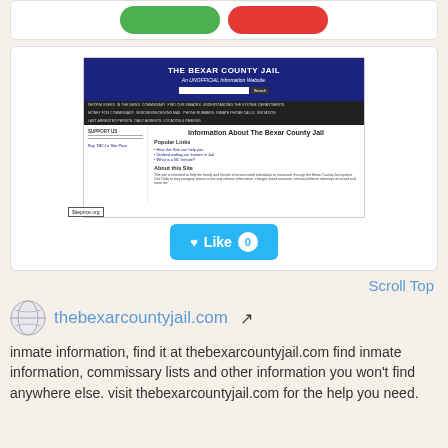[Figure (screenshot): Screenshot of The Bexar County Jail unofficial information website showing navigation menus, search bar, and content about Popular Links and About this Site sections]
[Figure (other): Light blue Like button with heart icon and count of 0]
Scroll Top
thebexarcountyjail.com
inmate information, find it at thebexarcountyjail.com find inmate information, commissary lists and other information you won't find anywhere else. visit thebexarcountyjail.com for the help you need.